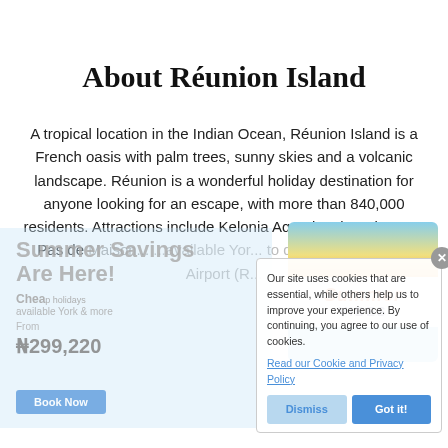About Réunion Island
A tropical location in the Indian Ocean, Réunion Island is a French oasis with palm trees, sunny skies and a volcanic landscape. Réunion is a wonderful holiday destination for anyone looking for an escape, with more than 840,000 residents. Attractions include Kelonia Aquarium in Saint-Leu, Pas de ...
[Figure (screenshot): Summer Savings Are Here! promotional overlay banner with summer vibes graphic, cheap destinations listing, price ₦299,220, and Book Now button]
[Figure (screenshot): Cookie consent popup: 'Our site uses cookies that are essential, while others help us to improve your experience. By continuing, you agree to our use of cookies. Read our Cookie and Privacy Policy' with Dismiss and Got it! buttons]